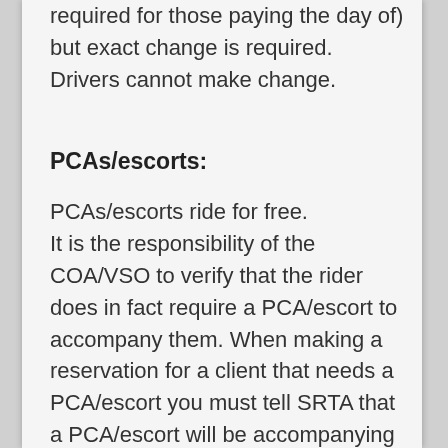required for those paying the day of) but exact change is required. Drivers cannot make change.
PCAs/escorts:
PCAs/escorts ride for free.
It is the responsibility of the COA/VSO to verify that the rider does in fact require a PCA/escort to accompany them. When making a reservation for a client that needs a PCA/escort you must tell SRTA that a PCA/escort will be accompanying them.
For SRTA Demand Response clients, a PCA must be registered with SRTA when their application is approved in order for a PCA to accompany them.